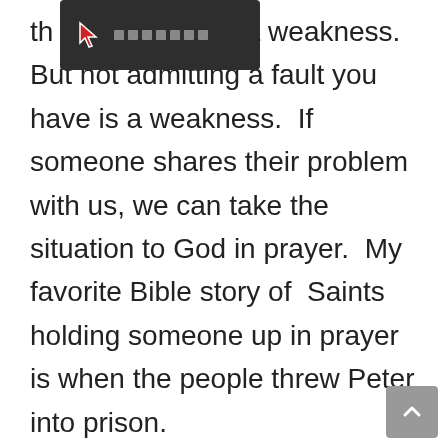[Figure (screenshot): A dark toolbar/overlay UI element showing a cursor icon and a row of square dots, positioned at the top of the page over text]
th[toolbar overlay]is not a weakness.  But not admitting a fault you have is a weakness.  If someone shares their problem with us, we can take the situation to God in prayer.  My favorite Bible story of  Saints holding someone up in prayer is when the people threw Peter into prison.
This account happened under King Herod's reign.  Peter was a minister for God, sharing the Gospel and preaching the word!  The religious rulers didn't like